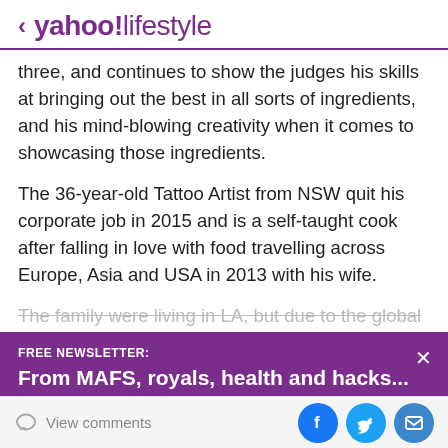< yahoo!lifestyle
three, and continues to show the judges his skills at bringing out the best in all sorts of ingredients, and his mind-blowing creativity when it comes to showcasing those ingredients.
The 36-year-old Tattoo Artist from NSW quit his corporate job in 2015 and is a self-taught cook after falling in love with food travelling across Europe, Asia and USA in 2013 with his wife.
The family were living in LA, but due to the global
[Figure (infographic): Purple newsletter signup banner: FREE NEWSLETTER: From MAFS, royals, health and hacks... Sign up here and never miss a thing! with X close button]
View comments | Facebook, Twitter, Email social icons